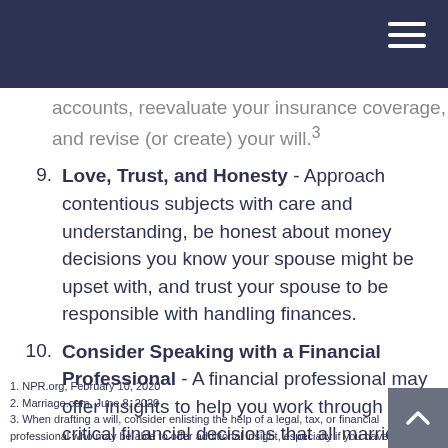accounts, reevaluate your insurance coverage, and revise (or create) your will.3
9. Love, Trust, and Honesty - Approach contentious subjects with care and understanding, be honest about money decisions you know your spouse might be upset with, and trust your spouse to be responsible with handling finances.
10. Consider Speaking with a Financial Professional - A financial professional may offer insights to help you work through the critical financial decisions that all married couples face.
1. NPR.org, February 10, 2020
2. Marriage.com, June 8, 2020
3. When drafting a will, consider enlisting the help of a legal, tax, or financial professional who may be able to offer additional insight, especially if you have a large estate or complex family situation.